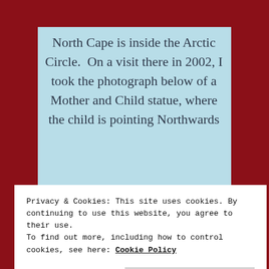North Cape is inside the Arctic Circle.  On a visit there in 2002, I took the photograph below of a Mother and Child statue, where the child is pointing Northwards
Privacy & Cookies: This site uses cookies. By continuing to use this website, you agree to their use.
To find out more, including how to control cookies, see here: Cookie Policy
Close and accept
Based on this page, I